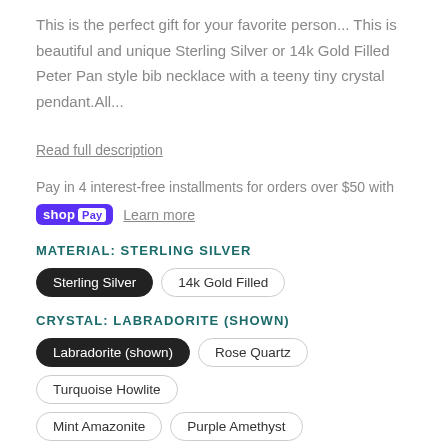This is the perfect gift for your favorite person... This is beautiful and unique Sterling Silver or 14k Gold Filled Peter Pan style bib necklace with a teeny tiny crystal pendant.All...
Read full description
Pay in 4 interest-free installments for orders over $50 with shop Pay Learn more
MATERIAL: STERLING SILVER
Sterling Silver
14k Gold Filled
CRYSTAL: LABRADORITE (SHOWN)
Labradorite (shown)
Rose Quartz
Turquoise Howlite
Mint Amazonite
Purple Amethyst
White Moonstone
Green Onyx
Black Onyx